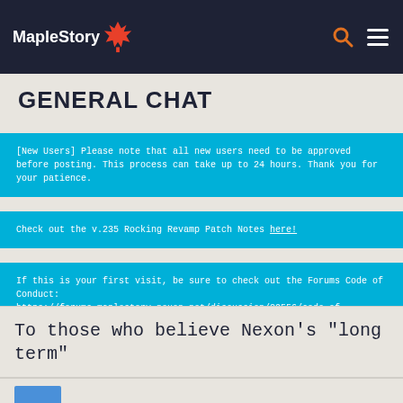MapleStory
GENERAL CHAT
[New Users] Please note that all new users need to be approved before posting. This process can take up to 24 hours. Thank you for your patience.
Check out the v.235 Rocking Revamp Patch Notes here!
If this is your first visit, be sure to check out the Forums Code of Conduct: https://forums.maplestory.nexon.net/discussion/29556/code-of-conducts
To those who believe Nexon's "long term"
Member